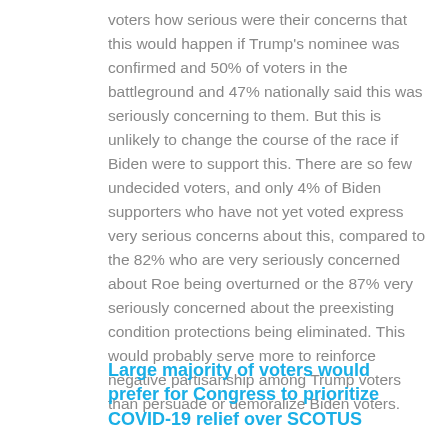voters how serious were their concerns that this would happen if Trump's nominee was confirmed and 50% of voters in the battleground and 47% nationally said this was seriously concerning to them. But this is unlikely to change the course of the race if Biden were to support this. There are so few undecided voters, and only 4% of Biden supporters who have not yet voted express very serious concerns about this, compared to the 82% who are very seriously concerned about Roe being overturned or the 87% very seriously concerned about the preexisting condition protections being eliminated. This would probably serve more to reinforce negative partisanship among Trump voters than persuade or demoralize Biden voters.
Large majority of voters would prefer for Congress to prioritize COVID-19 relief over SCOTUS